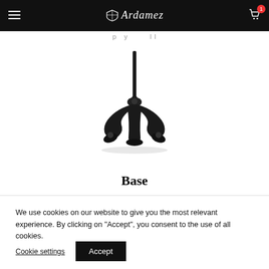Ardamez — navigation bar with hamburger menu, logo, and cart icon (1 item)
[Figure (photo): A black ornate decorative base/stand object, resembling an Eiffel Tower-shaped dark metal base with curved feet, photographed against a white background.]
Base
We use cookies on our website to give you the most relevant experience. By clicking on "Accept", you consent to the use of all cookies.
Cookie settings   Accept